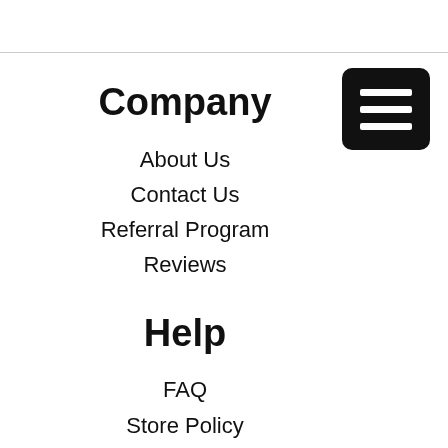[Figure (other): Hamburger menu icon — black rounded rectangle with three white horizontal lines]
Company
About Us
Contact Us
Referral Program
Reviews
Help
FAQ
Store Policy
Financing
Manufacturers
Windows